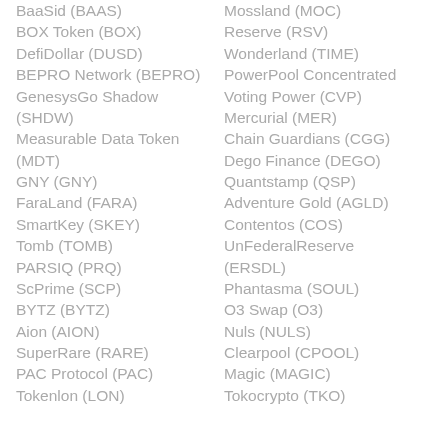BaaSid (BAAS)
Mossland (MOC)
BOX Token (BOX)
Reserve (RSV)
DefiDollar (DUSD)
Wonderland (TIME)
BEPRO Network (BEPRO)
PowerPool Concentrated Voting Power (CVP)
GenesysGo Shadow (SHDW)
Mercurial (MER)
Measurable Data Token (MDT)
Chain Guardians (CGG)
GNY (GNY)
Dego Finance (DEGO)
FaraLand (FARA)
Quantstamp (QSP)
SmartKey (SKEY)
Adventure Gold (AGLD)
Tomb (TOMB)
Contentos (COS)
PARSIQ (PRQ)
UnFederalReserve (ERSDL)
ScPrime (SCP)
Phantasma (SOUL)
BYTZ (BYTZ)
O3 Swap (O3)
Aion (AION)
Nuls (NULS)
SuperRare (RARE)
Clearpool (CPOOL)
PAC Protocol (PAC)
Magic (MAGIC)
Tokenlon (LON)
Tokocrypto (TKO)